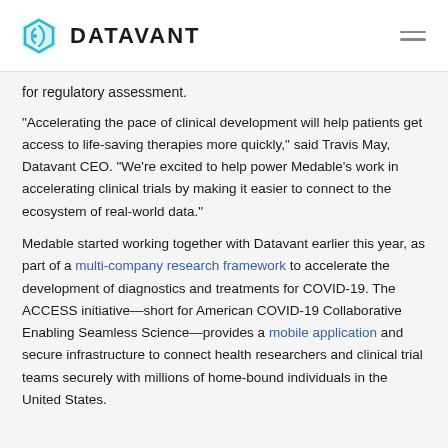DATAVANT
for regulatory assessment.
“Accelerating the pace of clinical development will help patients get access to life-saving therapies more quickly,” said Travis May, Datavant CEO. “We’re excited to help power Medable’s work in accelerating clinical trials by making it easier to connect to the ecosystem of real-world data.”
Medable started working together with Datavant earlier this year, as part of a multi-company research framework to accelerate the development of diagnostics and treatments for COVID-19. The ACCESS initiative—short for American COVID-19 Collaborative Enabling Seamless Science—provides a mobile application and secure infrastructure to connect health researchers and clinical trial teams securely with millions of home-bound individuals in the United States.